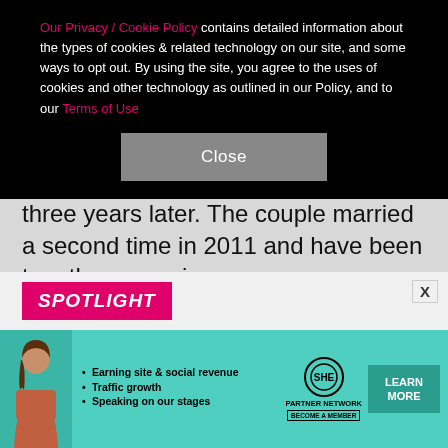Our Privacy / Cookie Policy contains detailed information about the types of cookies & related technology on our site, and some ways to opt out. By using the site, you agree to the uses of cookies and other technology as outlined in our Policy, and to our Terms of Use
Close
three years later. The couple married a second time in 2011 and have been together ever since.
In October 2019, she told Closer Weekly, "I'm in love for the first time in my life, like really in love, and it's probably the most wonderful experience I've had. Truly in love."
[Figure (screenshot): SPOTLIGHT badge in magenta/pink with white italic bold text, and an X close button to the right]
[Figure (infographic): SHE Partner Network advertisement banner with teal background, woman photo, bullet points about earning site & social revenue, traffic growth, speaking on our stages, SHE logo, LEARN MORE button]